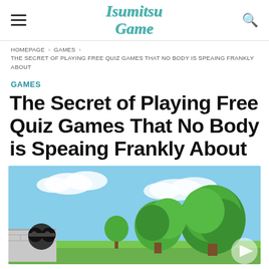Isumitsu Game
HOMEPAGE › GAMES › THE SECRET OF PLAYING FREE QUIZ GAMES THAT NO BODY IS SPEAING FRANKLY ABOUT
GAMES
The Secret of Playing Free Quiz Games That No Body is Speaing Frankly About
[Figure (screenshot): Game screenshot showing a cartoon garden scene with green topiary trees, blue sky, and what appears to be a vehicle or character with round eyes in the lower left, along with a play button arrow in the lower right]